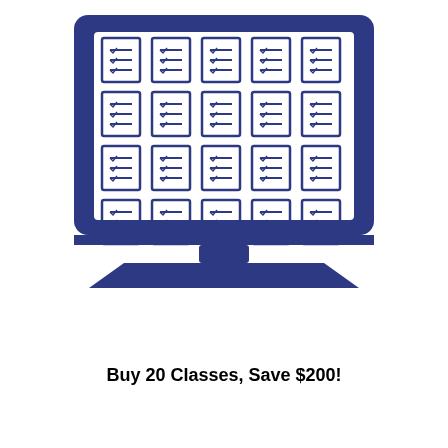[Figure (illustration): A dark navy blue laptop icon. The screen shows a 4x5 grid of checklist/clipboard icons in white outlined in dark blue. The laptop has a base/stand visible below the screen.]
Buy 20 Classes, Save $200!